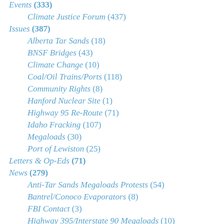Events (333)
Climate Justice Forum (437)
Issues (387)
Alberta Tar Sands (18)
BNSF Bridges (43)
Climate Change (10)
Coal/Oil Trains/Ports (118)
Community Rights (8)
Hanford Nuclear Site (1)
Highway 95 Re-Route (71)
Idaho Fracking (107)
Megaloads (30)
Port of Lewiston (25)
Letters & Op-Eds (71)
News (279)
Anti-Tar Sands Megaloads Protests (54)
Bantrel/Conoco Evaporators (8)
FBI Contact (3)
Highway 395/Interstate 90 Megaloads (10)
Highway 95 Megaload Accident (3)